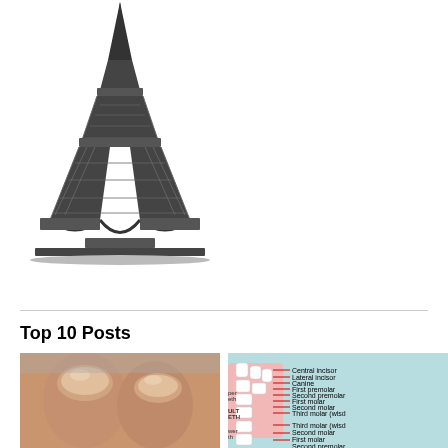[Figure (illustration): Black and white engraving-style illustration of the Eiffel Tower]
Top 10 Posts
[Figure (photo): Close-up photo of two human fingertips/nails]
[Figure (infographic): Dental diagram showing labeled teeth including central incisor, lateral incisor, canine, first premolar, second premolar, first molar, second molar, third molar (wisdom), for both upper and lower teeth, on a light blue/pink background]